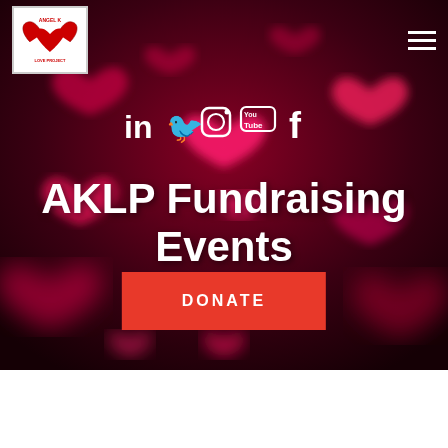[Figure (illustration): Hero banner with dark red/crimson background with glowing pink and red hearts floating throughout. Navigation bar with Angel K Love Project logo (white box, top left) and hamburger menu (top right). Social media icons row (LinkedIn, Twitter, Instagram, YouTube, Facebook) in white. Large white bold title 'AKLP Fundraising Events'. Red donate button. Bottom white section with italic bold 'Healing h...g &' text and overlapping red 'Support Us' button.]
Angel K Love Project logo | hamburger menu
AKLP Fundraising Events
DONATE
Healing h g &
Support Us